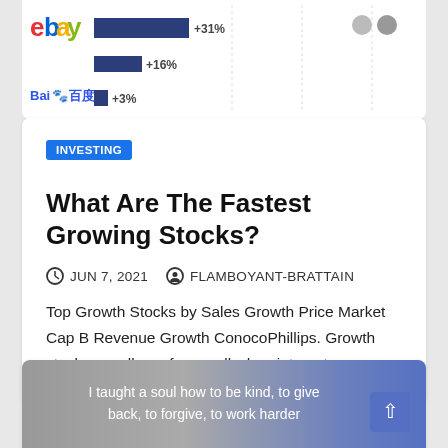[Figure (other): Top portion of a chart showing company logos (eBay, Baidu) with percentage bars (+31%, +16%, +3%)]
INVESTING
What Are The Fastest Growing Stocks?
JUN 7, 2021   FLAMBOYANT-BRATTAIN
Top Growth Stocks by Sales Growth Price Market Cap B Revenue Growth ConocoPhillips. Growth stocks usually perform well when interest...
[Figure (photo): Image with quote text overlaid: 'I taught a soul how to be kind, to give back, to forgive, to work harder']